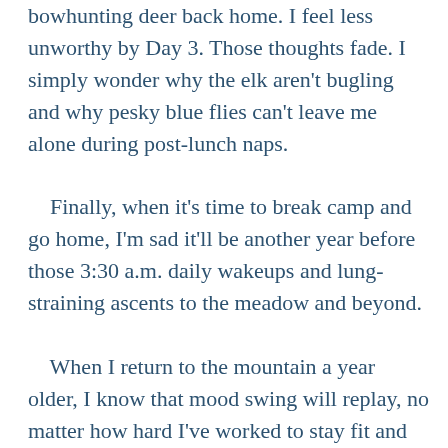bowhunting deer back home. I feel less unworthy by Day 3. Those thoughts fade. I simply wonder why the elk aren't bugling and why pesky blue flies can't leave me alone during post-lunch naps.

    Finally, when it's time to break camp and go home, I'm sad it'll be another year before those 3:30 a.m. daily wakeups and lung-straining ascents to the meadow and beyond.

    When I return to the mountain a year older, I know that mood swing will replay, no matter how hard I've worked to stay fit and focused the previous 12 months near sea level. I assume that mood sequence has